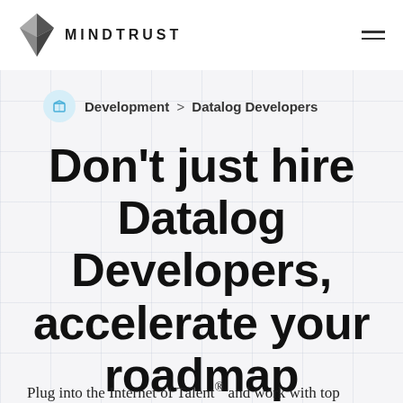MINDTRUST
Development > Datalog Developers
Don't just hire Datalog Developers, accelerate your roadmap
Plug into the Internet of Talent® and work with top